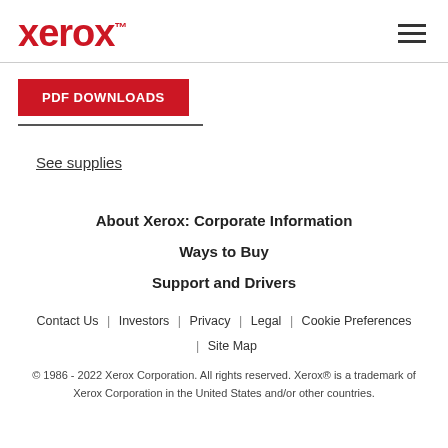xerox™
PDF DOWNLOADS
See supplies
About Xerox: Corporate Information
Ways to Buy
Support and Drivers
Contact Us | Investors | Privacy | Legal | Cookie Preferences | Site Map
© 1986 - 2022 Xerox Corporation. All rights reserved. Xerox® is a trademark of Xerox Corporation in the United States and/or other countries.